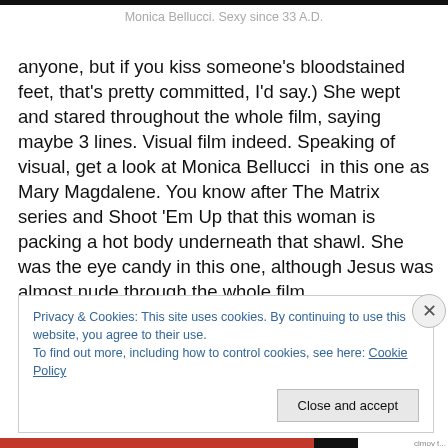Monica Bellucci. Sexy since 33 A.D.
anyone, but if you kiss someone's bloodstained feet, that's pretty committed, I'd say.) She wept and stared throughout the whole film, saying maybe 3 lines. Visual film indeed. Speaking of visual, get a look at Monica Bellucci  in this one as Mary Magdalene. You know after The Matrix series and Shoot 'Em Up that this woman is packing a hot body underneath that shawl. She was the eye candy in this one, although Jesus was almost nude through the whole film.
Privacy & Cookies: This site uses cookies. By continuing to use this website, you agree to their use.
To find out more, including how to control cookies, see here: Cookie Policy
Close and accept